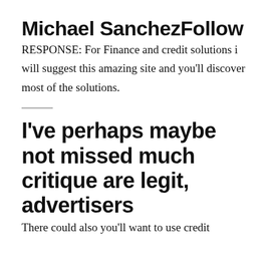Michael SanchezFollow
RESPONSE: For Finance and credit solutions i will suggest this amazing site and you'll discover most of the solutions.
I've perhaps maybe not missed much critique are legit, advertisers
There could also you'll want to use credit